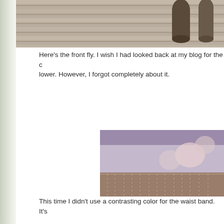[Figure (photo): Top portion of a photo showing wooden planks/deck surface with some items on it, cropped at top of page]
Here's the front fly. I wish I had looked back at my blog for the c… lower. However, I forgot completely about it.
[Figure (photo): Close-up photo of brown pinstripe trousers showing the front waistband and fly area, fabric laid on a purple/floral surface]
This time I didn't use a contrasting color for the waist band. It's…